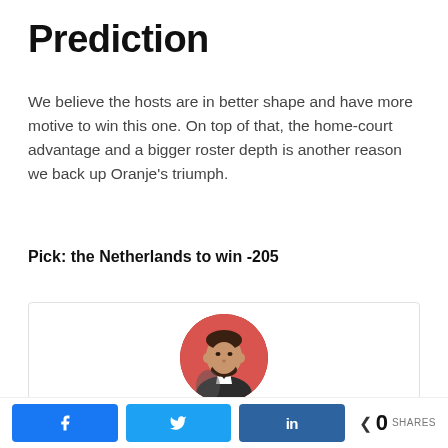Prediction
We believe the hosts are in better shape and have more motive to win this one. On top of that, the home-court advantage and a bigger roster depth is another reason we back up Oranje's triumph.
Pick: the Netherlands to win -205
[Figure (photo): Circular avatar photo of a man in a dark suit jacket against a red/pink background]
Facebook share button, Twitter share button, LinkedIn share button, < 0 SHARES